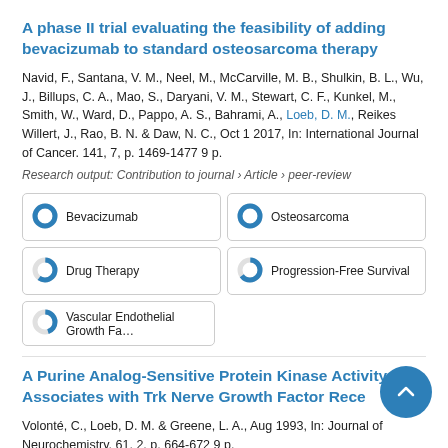A phase II trial evaluating the feasibility of adding bevacizumab to standard osteosarcoma therapy
Navid, F., Santana, V. M., Neel, M., McCarville, M. B., Shulkin, B. L., Wu, J., Billups, C. A., Mao, S., Daryani, V. M., Stewart, C. F., Kunkel, M., Smith, W., Ward, D., Pappo, A. S., Bahrami, A., Loeb, D. M., Reikes Willert, J., Rao, B. N. & Daw, N. C., Oct 1 2017, In: International Journal of Cancer. 141, 7, p. 1469-1477 9 p.
Research output: Contribution to journal › Article › peer-review
[Figure (infographic): Six keyword badges with donut/ring icons: Bevacizumab (100%), Osteosarcoma (100%), Drug Therapy (~60%), Progression-Free Survival (~65%), Vascular Endothelial Growth Fa... (~45%)]
A Purine Analog-Sensitive Protein Kinase Activity Associates with Trk Nerve Growth Factor Rece...
Volonté, C., Loeb, D. M. & Greene, L. A., Aug 1993, In: Journal of Neurochemistry. 61, 2, p. 664-672 9 p.